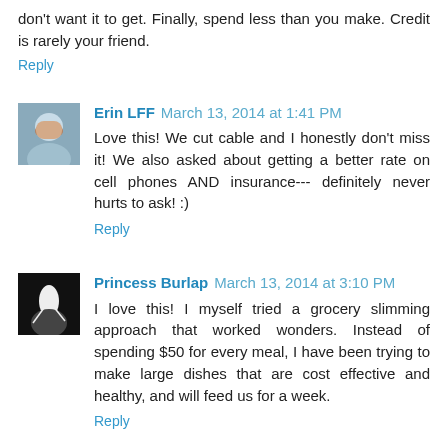don't want it to get. Finally, spend less than you make. Credit is rarely your friend.
Reply
Erin LFF March 13, 2014 at 1:41 PM
Love this! We cut cable and I honestly don't miss it! We also asked about getting a better rate on cell phones AND insurance--- definitely never hurts to ask! :)
Reply
Princess Burlap March 13, 2014 at 3:10 PM
I love this! I myself tried a grocery slimming approach that worked wonders. Instead of spending $50 for every meal, I have been trying to make large dishes that are cost effective and healthy, and will feed us for a week.
Reply
To leave a comment, click the button below to sign in with Google.